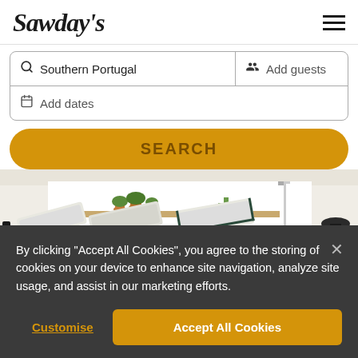Sawday's
Southern Portugal | Add guests | Add dates
SEARCH
[Figure (photo): Outdoor terrace/patio area with sun loungers, white walls, wooden countertop, plants, outdoor shower and BBQ grill]
By clicking “Accept All Cookies”, you agree to the storing of cookies on your device to enhance site navigation, analyze site usage, and assist in our marketing efforts.
Customise
Accept All Cookies